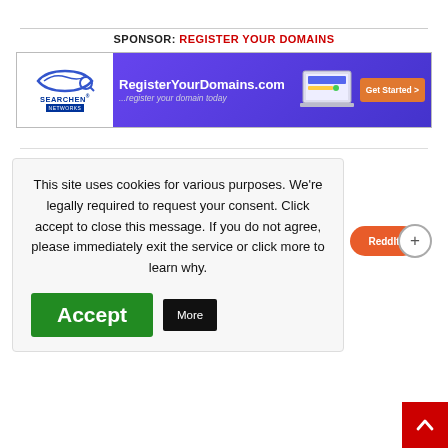SPONSOR: REGISTER YOUR DOMAINS
[Figure (screenshot): Banner advertisement for RegisterYourDomains.com by Searchen Networks with orange 'Get Started' button on purple background]
This site uses cookies for various purposes. We're legally required to request your consent. Click accept to close this message. If you do not agree, please immediately exit the service or click more to learn why.
Accept
More